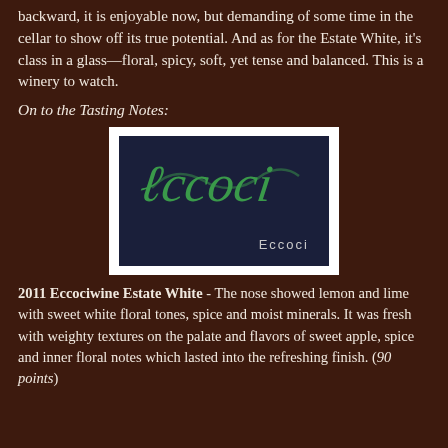backward, it is enjoyable now, but demanding of some time in the cellar to show off its true potential. And as for the Estate White, it's class in a glass—floral, spicy, soft, yet tense and balanced. This is a winery to watch.
On to the Tasting Notes:
[Figure (photo): Wine bottle label photo showing a dark navy blue label with green cursive script text and the word 'Eccoci' in grey text at the bottom right, framed in white.]
2011 Eccociwine Estate White - The nose showed lemon and lime with sweet white floral tones, spice and moist minerals. It was fresh with weighty textures on the palate and flavors of sweet apple, spice and inner floral notes which lasted into the refreshing finish. (90 points)